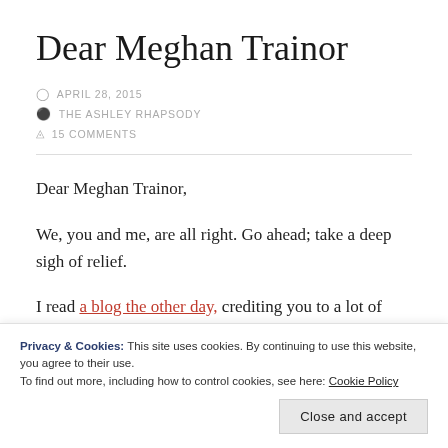Dear Meghan Trainor
APRIL 28, 2015
THE ASHLEY RHAPSODY
15 COMMENTS
Dear Meghan Trainor,
We, you and me, are all right. Go ahead; take a deep sigh of relief.
I read a blog the other day, crediting you to a lot of
Privacy & Cookies: This site uses cookies. By continuing to use this website, you agree to their use. To find out more, including how to control cookies, see here: Cookie Policy
Close and accept